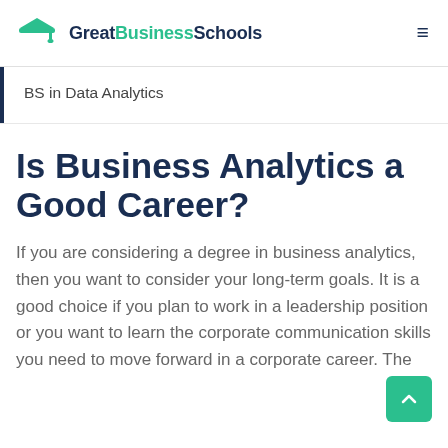GreatBusinessSchools
BS in Data Analytics
Is Business Analytics a Good Career?
If you are considering a degree in business analytics, then you want to consider your long-term goals. It is a good choice if you plan to work in a leadership position or you want to learn the corporate communication skills you need to move forward in a corporate career. The